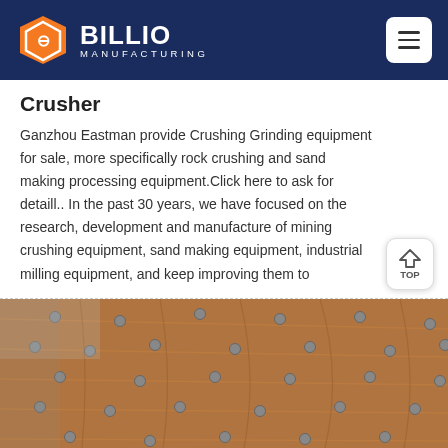BILLIO MANUFACTURING
Crusher
Ganzhou Eastman provide Crushing Grinding equipment for sale, more specifically rock crushing and sand making processing equipment.Click here to ask for detaill.. In the past 30 years, we have focused on the research, development and manufacture of mining crushing equipment, sand making equipment, industrial milling equipment, and keep improving them to
[Figure (photo): Close-up photo of large industrial crushing equipment showing studded metal drum/shell surface inside a factory building]
[Figure (photo): Customer service representative woman with headset, orange background, Message and Online Chat buttons]